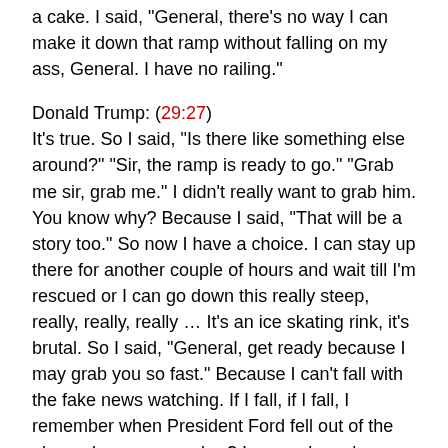a cake. I said, "General, there's no way I can make it down that ramp without falling on my ass, General. I have no railing."
Donald Trump: (29:27)
It's true. So I said, “Is there like something else around?” “Sir, the ramp is ready to go.” “Grab me sir, grab me.” I didn’t really want to grab him. You know why? Because I said, “That will be a story too.” So now I have a choice. I can stay up there for another couple of hours and wait till I’m rescued or I can go down this really steep, really, really, really … It’s an ice skating rink, it’s brutal. So I said, “General, get ready because I may grab you so fast.” Because I can’t fall with the fake news watching. If I fall, if I fall, I remember when President Ford fell out of the plane, do you remember? I remember when another president, nice man, threw up in Japan, and they did slow motion replays. It’s true, right? “I don’t want that, general.” Now he’s standing there, big strong guy, and he’s not there alone, but they’re here, he’s with all